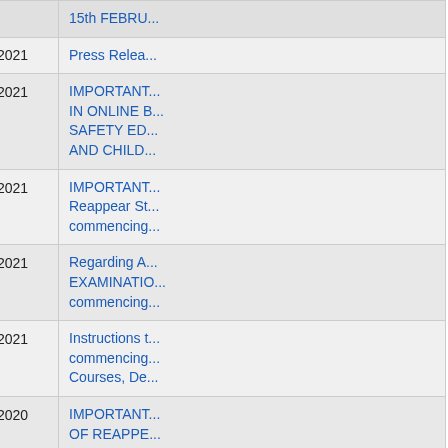| No. | Date | Title |
| --- | --- | --- |
|  |  | 15th FEBRU... |
| 195. | 29/01/2021 | Press Relea... |
| 196. | 11/01/2021 | IMPORTANT... IN ONLINE B... SAFETY ED... AND CHILD... |
| 197. | 08/01/2021 | IMPORTANT... Reappear St... commencing... |
| 198. | 08/01/2021 | Regarding A... EXAMINATIO... commencing... |
| 199. | 05/01/2021 | Instructions t... commencing... Courses, De... |
| 200. | 30/12/2020 | IMPORTANT... OF REAPPE... COMMENCI... |
| 201. | 11/12/2020 | Result of so... 2020 declare... |
| 202. | 16/10/2020 | Exit semeste... reappear in e... |